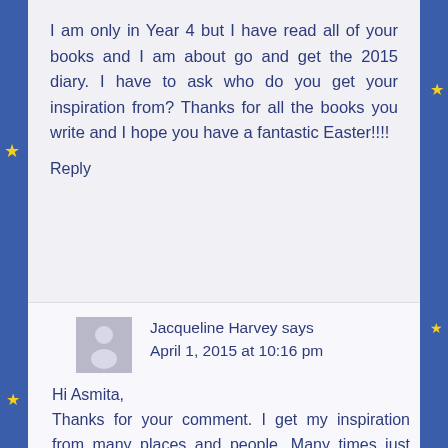I am only in Year 4 but I have read all of your books and I am about go and get the 2015 diary. I have to ask who do you get your inspiration from? Thanks for all the books you write and I hope you have a fantastic Easter!!!!
Reply
Jacqueline Harvey says
April 1, 2015 at 10:16 pm
Hi Asmita,
Thanks for your comment. I get my inspiration from many places and people. Many times just from visiting